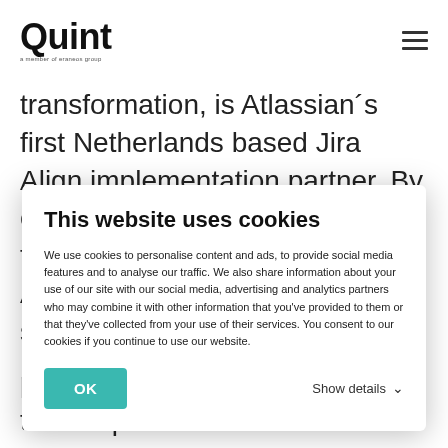Quint — a member of eraneos group
transformation, is Atlassian´s first Netherlands based Jira Align implementation partner. By connecting business strategy to technical execution, the Jira Align platform offers a single source of truth for the
This website uses cookies
We use cookies to personalise content and ads, to provide social media features and to analyse our traffic. We also share information about your use of our site with our social media, advertising and analytics partners who may combine it with other information that you've provided to them or that they've collected from your use of their services. You consent to our cookies if you continue to use our website.
OK   Show details
problem. Jira Align is a platform that helps business